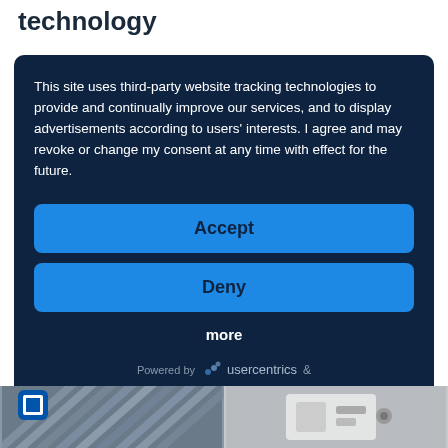technology
This site uses third-party website tracking technologies to provide and continually improve our services, and to display advertisements according to users' interests. I agree and may revoke or change my consent at any time with effect for the future.
Accept
Deny
more
Powered by usercentrics &
[Figure (photo): Bottom image bar with two photos: left shows diagonal industrial pipes/lines, right shows what appears to be a white electrical equipment/device. A small square icon with white border appears bottom left.]